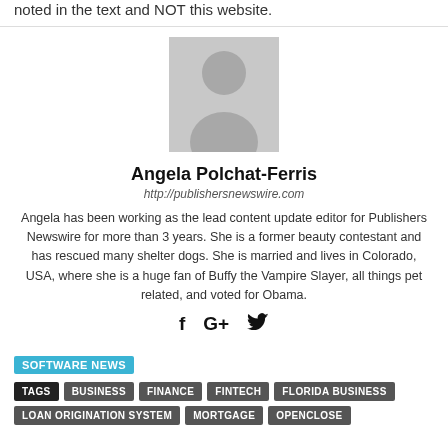noted in the text and NOT this website.
[Figure (illustration): Generic user avatar placeholder image (grey silhouette of a person on light grey background)]
Angela Polchat-Ferris
http://publishersnewswire.com
Angela has been working as the lead content update editor for Publishers Newswire for more than 3 years. She is a former beauty contestant and has rescued many shelter dogs. She is married and lives in Colorado, USA, where she is a huge fan of Buffy the Vampire Slayer, all things pet related, and voted for Obama.
[Figure (other): Social media icons: Facebook (f), Google+ (G+), Twitter (bird)]
SOFTWARE NEWS
TAGS  BUSINESS  FINANCE  FINTECH  FLORIDA BUSINESS  LOAN ORIGINATION SYSTEM  MORTGAGE  OPENCLOSE